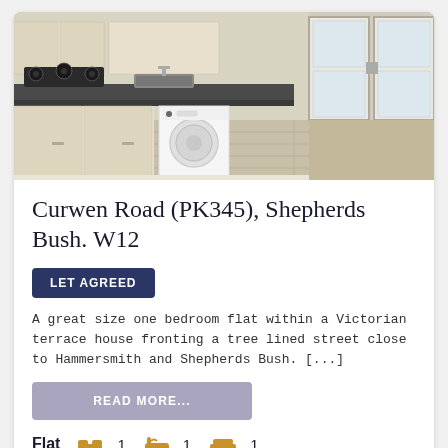[Figure (photo): Kitchen interior photo showing dark granite countertop with gas hob, washing machine, light wood cabinets, and French doors with natural light and light wood-effect flooring.]
Curwen Road (PK345), Shepherds Bush. W12
LET AGREED
A great size one bedroom flat within a Victorian terrace house fronting a tree lined street close to Hammersmith and Shepherds Bush. [...]
READ MORE...
Flat  1  1  1
£1,450 pcm